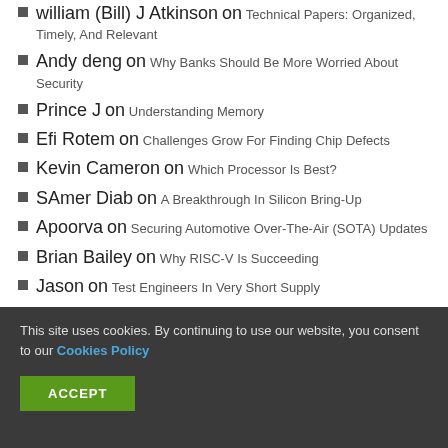william (Bill) J Atkinson on Technical Papers: Organized, Timely, And Relevant
Andy deng on Why Banks Should Be More Worried About Security
Prince J on Understanding Memory
Efi Rotem on Challenges Grow For Finding Chip Defects
Kevin Cameron on Which Processor Is Best?
SAmer Diab on A Breakthrough In Silicon Bring-Up
Apoorva on Securing Automotive Over-The-Air (SOTA) Updates
Brian Bailey on Why RISC-V Is Succeeding
Jason on Test Engineers In Very Short Supply
This site uses cookies. By continuing to use our website, you consent to our Cookies Policy
ACCEPT